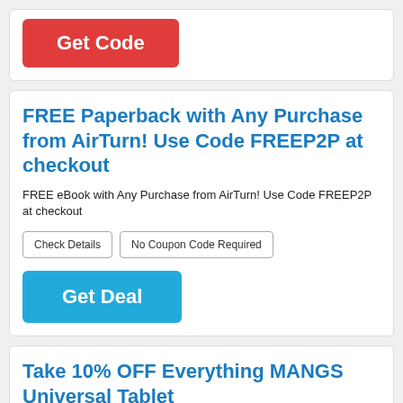[Figure (other): Red 'Get Code' button]
FREE Paperback with Any Purchase from AirTurn! Use Code FREEP2P at checkout
FREE eBook with Any Purchase from AirTurn! Use Code FREEP2P at checkout
Check Details | No Coupon Code Required
[Figure (other): Blue 'Get Deal' button]
Take 10% OFF Everything MANGS Universal Tablet